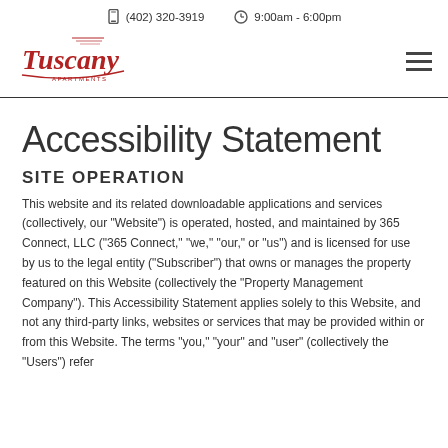(402) 320-3919   9:00am - 6:00pm
[Figure (logo): Tuscany Apartments logo in red cursive script with decorative lines]
Accessibility Statement
SITE OPERATION
This website and its related downloadable applications and services (collectively, our “Website”) is operated, hosted, and maintained by 365 Connect, LLC (“365 Connect,” “we,” “our,” or “us”) and is licensed for use by us to the legal entity (“Subscriber”) that owns or manages the property featured on this Website (collectively the “Property Management Company”). This Accessibility Statement applies solely to this Website, and not any third-party links, websites or services that may be provided within or from this Website. The terms “you,” “your” and “user” (collectively the “Users”) refer